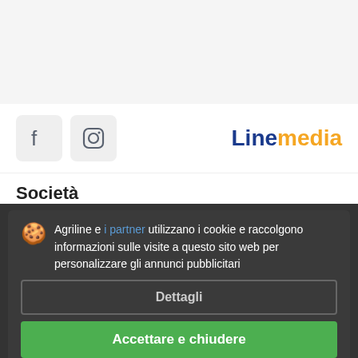[Figure (logo): Linemedia logo with 'Line' in dark blue and 'media' in orange]
[Figure (illustration): Facebook and Instagram social media icon boxes]
Società
Agriline e i partner utilizzano i cookie e raccolgono informazioni sulle visite a questo sito web per personalizzare gli annunci pubblicitari
Dettagli
Accettare e chiudere